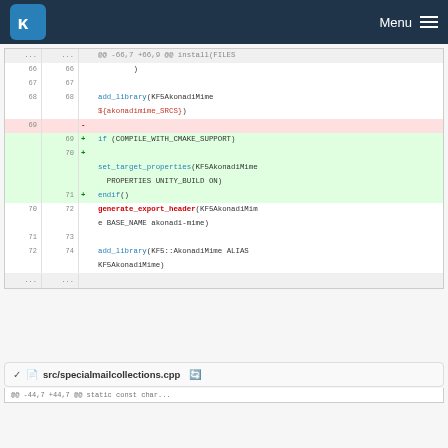KDE Menu
[Figure (screenshot): Code diff view showing CMakeLists.txt changes: lines 66-72/74 with addition of COMPILE_WITH_CMAKE_SUPPORT block (set_target_properties UNITY_BUILD ON) around line 69-71]
src/specialmailcollections.cpp
@@ -44,7 +44,7 @@ static const char...